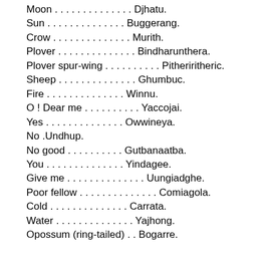Moon . . . . . . . . . . . . . . Djhatu.
Sun . . . . . . . . . . . . . . Buggerang.
Crow . . . . . . . . . . . . . . Murith.
Plover . . . . . . . . . . . . . . Bindharunthera.
Plover spur-wing . . . . . . . . . . Pitheriritheric.
Sheep . . . . . . . . . . . . . . Ghumbuc.
Fire . . . . . . . . . . . . . . Winnu.
O ! Dear me . . . . . . . . . . Yaccojai.
Yes . . . . . . . . . . . . . . Owwineya.
No .Undhup.
No good . . . . . . . . . . Gutbanaatba.
You . . . . . . . . . . . . . . Yindagee.
Give me . . . . . . . . . . . . . . Uungiadghe.
Poor fellow . . . . . . . . . . . . . . Comiagola.
Cold . . . . . . . . . . . . . . Carrata.
Water . . . . . . . . . . . . . . Yajhong.
Opossum (ring-tailed) . . Bogarre.